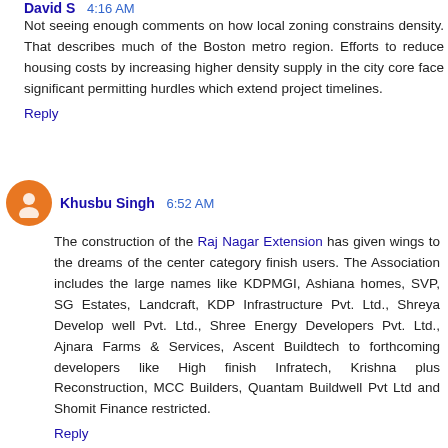David S 4:16 AM
Not seeing enough comments on how local zoning constrains density. That describes much of the Boston metro region. Efforts to reduce housing costs by increasing higher density supply in the city core face significant permitting hurdles which extend project timelines.
Reply
Khusbu Singh 6:52 AM
The construction of the Raj Nagar Extension has given wings to the dreams of the center category finish users. The Association includes the large names like KDPMGI, Ashiana homes, SVP, SG Estates, Landcraft, KDP Infrastructure Pvt. Ltd., Shreya Develop well Pvt. Ltd., Shree Energy Developers Pvt. Ltd., Ajnara Farms & Services, Ascent Buildtech to forthcoming developers like High finish Infratech, Krishna plus Reconstruction, MCC Builders, Quantam Buildwell Pvt Ltd and Shomit Finance restricted.
Reply